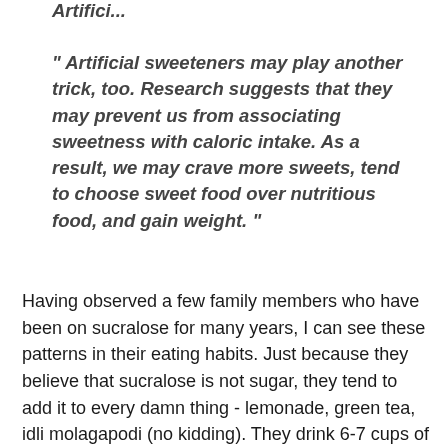" Artificial sweeteners may play another trick, too. Research suggests that they may prevent us from associating sweetness with caloric intake. As a result, we may crave more sweets, tend to choose sweet food over nutritious food, and gain weight. "
Having observed a few family members who have been on sucralose for many years, I can see these patterns in their eating habits. Just because they believe that sucralose is not sugar, they tend to add it to every damn thing - lemonade, green tea, idli molagapodi (no kidding). They drink 6-7 cups of tea/coffee per day, with sucralose as the sweetener. The moment they see sweet/dessert while eating out